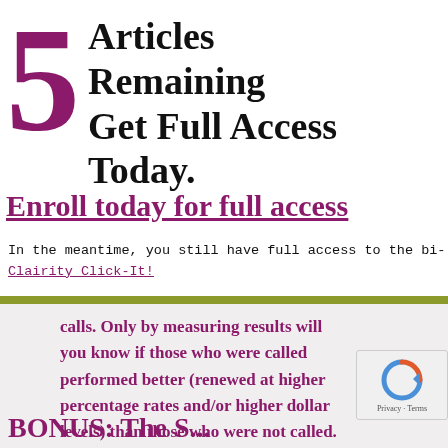5 Articles Remaining Get Full Access Today.
Enroll today for full access
In the meantime, you still have full access to the bi- Clairity Click-It!
calls. Only by measuring results will you know if those who were called performed better (renewed at higher percentage rates and/or higher dollar levels) than those who were not called.
BONUS: The S...